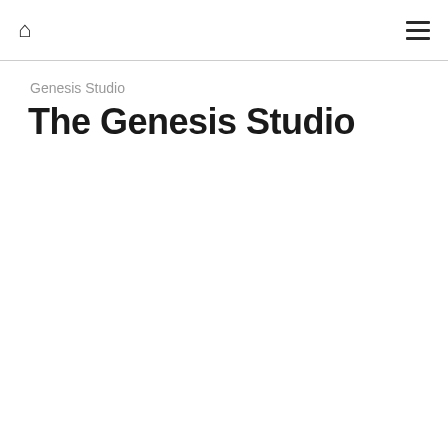home menu
Genesis Studio
The Genesis Studio